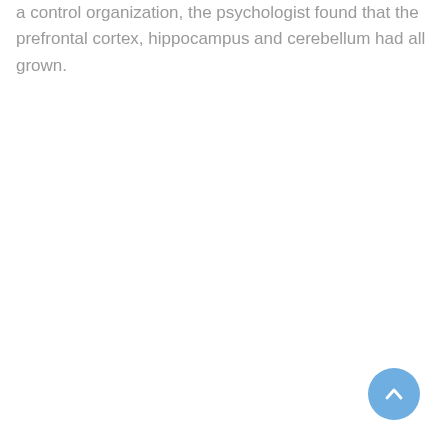a control organization, the psychologist found that the prefrontal cortex, hippocampus and cerebellum had all grown.
[Figure (other): A round blue scroll-to-top button with an upward-pointing chevron arrow, positioned in the bottom-right corner.]